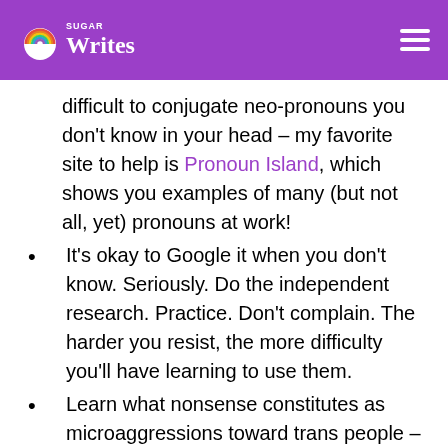Sugar Candy Writes
difficult to conjugate neo-pronouns you don't know in your head – my favorite site to help is Pronoun Island, which shows you examples of many (but not all, yet) pronouns at work!
It's okay to Google it when you don't know. Seriously. Do the independent research. Practice. Don't complain. The harder you resist, the more difficulty you'll have learning to use them.
Learn what nonsense constitutes as microaggressions toward trans people – this means NO: